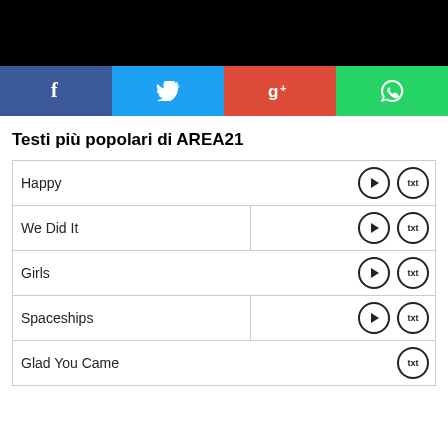[Figure (screenshot): Black bar at top of page (header image area)]
[Figure (infographic): Social media share buttons row: Facebook (blue), Twitter (light blue), Google+ (red), WhatsApp (green)]
Testi più popolari di AREA21
| Happy |
| We Did It |
| Girls |
| Spaceships |
| Glad You Came |